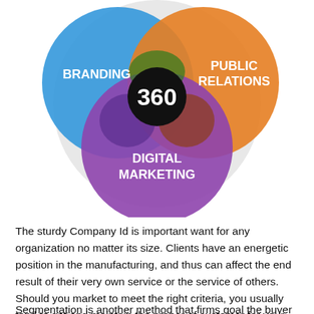[Figure (infographic): Venn diagram with three overlapping circles labeled BRANDING (blue, left), PUBLIC RELATIONS (orange, right), and DIGITAL MARKETING (purple, bottom), overlapping in the center with a black circle showing '360'. Surrounded by a large light gray circle.]
The sturdy Company Id is important want for any organization no matter its size. Clients have an energetic position in the manufacturing, and thus can affect the end result of their very own service or the service of others. Should you market to meet the right criteria, you usually tend to get and maintain the proper of customer for your corporation.
Segmentation is another method that firms goal the buyer to